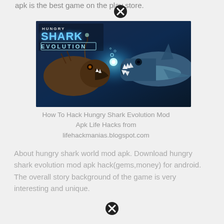apk is the best game on the play store.
[Figure (photo): Hungry Shark Evolution game promotional image showing two sharks facing each other with glowing light between them underwater, with the Hungry Shark Evolution logo in the top left corner]
How To Hack Hungry Shark Evolution Mod Apk Life Hacks from lifehackmanias.blogspot.com
About hungry shark world mod apk. Download hungry shark evolution mod apk hack(gems,money) for android. The overall story background of the game is very interesting and unique.